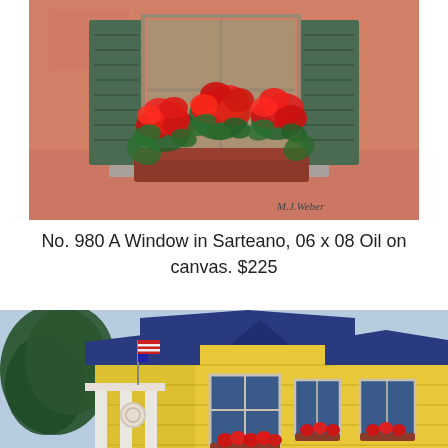[Figure (illustration): Oil painting of a window with green shutters and a red flower box overflowing with red geraniums on a pinkish-orange wall. Signed 'M.J. Weber' in lower right.]
No. 980 A Window in Sarteano, 06 x 08 Oil on canvas. $225
[Figure (illustration): Oil painting of a bright yellow house with blue roof, white porch with columns, American flag, and colorful flower gardens with white picket fence in the foreground.]